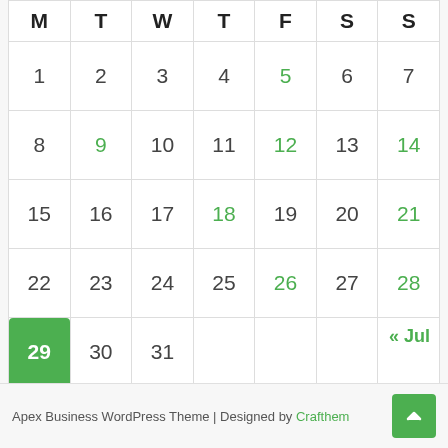| M | T | W | T | F | S | S |
| --- | --- | --- | --- | --- | --- | --- |
| 1 | 2 | 3 | 4 | 5 | 6 | 7 |
| 8 | 9 | 10 | 11 | 12 | 13 | 14 |
| 15 | 16 | 17 | 18 | 19 | 20 | 21 |
| 22 | 23 | 24 | 25 | 26 | 27 | 28 |
| 29 | 30 | 31 |  |  |  |  |
« Jul
Apex Business WordPress Theme | Designed by Crafthem